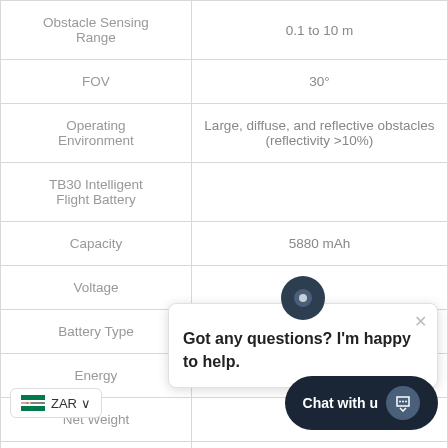| Specification | Value |
| --- | --- |
| Obstacle Sensing Range | 0.1 to 10 m |
| FOV | 30° |
| Operating Environment | Large, diffuse, and reflective obstacles (reflectivity >10%) |
| TB30 Intelligent Flight Battery |  |
| Capacity | 5880 mAh |
| Voltage |  |
| Battery Type |  |
| Energy | 131 |
| Net Weight | Appro... |
| Operating |  |